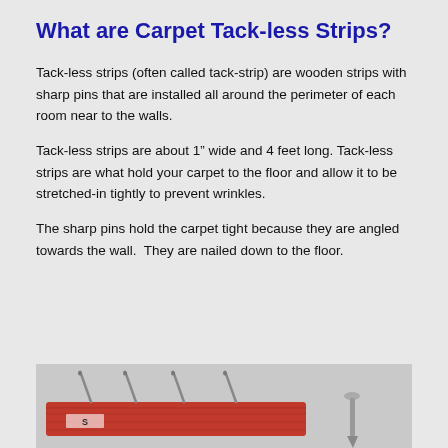What are Carpet Tack-less Strips?
Tack-less strips (often called tack-strip) are wooden strips with sharp pins that are installed all around the perimeter of each room near to the walls.
Tack-less strips are about 1” wide and 4 feet long. Tack-less strips are what hold your carpet to the floor and allow it to be stretched-in tightly to prevent wrinkles.
The sharp pins hold the carpet tight because they are angled towards the wall.  They are nailed down to the floor.
[Figure (photo): Photo of carpet tack-less strips showing a red wooden strip with sharp pins/nails protruding upward, and a single nail displayed separately.]